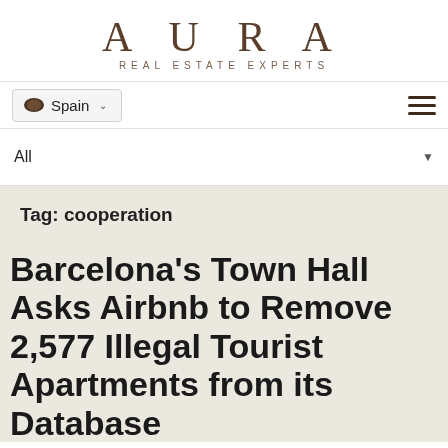AURA
REAL ESTATE EXPERTS
Spain ▾
All ▾
Tag: cooperation
Barcelona's Town Hall Asks Airbnb to Remove 2,577 Illegal Tourist Apartments from its Database
[Figure (screenshot): Broken image placeholder with alt text: Barcelona's Town Hall Asks Airbnb to Remove 2,577 Illegal Tourist Apartments from its Database]